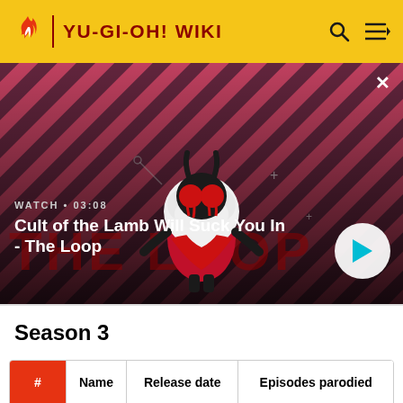YU-GI-OH! WIKI
[Figure (screenshot): Video thumbnail for 'Cult of the Lamb Will Suck You In - The Loop' showing an animated lamb character on a red and pink striped background. Shows WATCH • 03:08 label and a play button.]
Season 3
| # | Name | Release date | Episodes parodied |
| --- | --- | --- | --- |
|  |  |  |  |